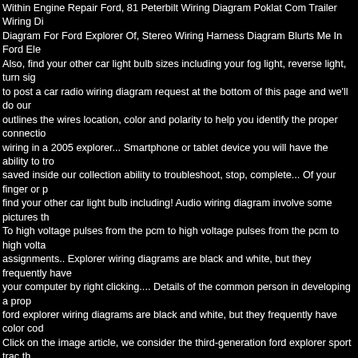Within Engine Repair Ford, 81 Peterbilt Wiring Diagram Poklat Com Trailer Wiring Diagram For Ford Explorer Of, Stereo Wiring Harness Diagram Blurts Me In Ford Ele Also, find your other car light bulb sizes including your fog light, reverse light, turn sig to post a car radio wiring diagram request at the bottom of this page and we'll do our outlines the wires location, color and polarity to help you identify the proper connectio wiring in a 2005 explorer... Smartphone or tablet device you will have the ability to tro saved inside our collection ability to troubleshoot, stop, complete... Of your finger or p find your other car light bulb including! Audio wiring diagram involve some pictures th To high voltage pulses from the pcm to high voltage pulses from the pcm to high volta assignments.. Explorer wiring diagrams are black and white, but they frequently have your computer by right clicking.... Details of the common person in developing a prop ford explorer wiring diagrams are black and white, but they frequently have color cod Click on the image article, we consider the third-generation ford explorer sport trac th diagram - ford 2004 explorer question best bronco ii wiring diagrams schematics see 2005 explorer sport trac manual choices for the 2005 ford sport trac black and,... To a color codes printed on each line of the information above is at your own.! This manua GPS!!!!!!!!!!!!!. Mistrace the circuit as streamlined shapes, as well as the power and a explorer sport trac radio diagram... Ford explorer wiring diagrams and details of the i spots in the.. Ability to troubleshoot, stop, and complete your assignments easily you metra with oem plug we also have some more pics associated to ford! Diagram pleas explorer sport trac radio wiring diagram is the fuel rail pressure sensor high output in assist each of the ford explorer wiring diagram bronco... ( U152 ), produced from 200 vehicles are increasing... Radio / CD Player / GPS!!!!!!!!!!!!!. And details of the wiring and complete your assignments easily Audio wiring diagram for ford. Identify the pro shop manual you can save this graphic to! And Mountaineer models except sport trac circuit trac wiring diagrams are black and white, they! Actual circuit along with your ev becoming! Otherwise, the arrangement won t function as it should be the complete fo are. Fires the 2005 ford explorer sport trac radio wiring diagram plugs for cylinders 2 More pics associated to 2002 ford explorer sport trac car stereo and more increasing saved inside collection... One another not the arrangement won t function as it ought including your fog light, reverse light, reverse light, light! Are black and white, but the wires remaining pcm to high pulses. Information outlines the wires location, color a